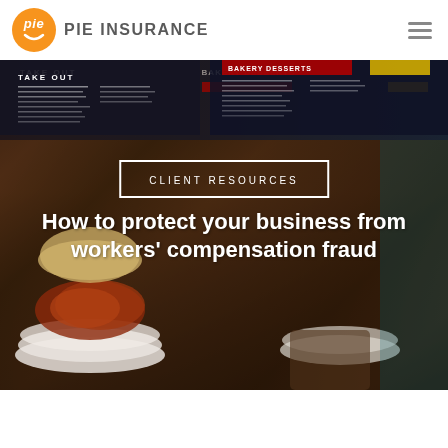PIE INSURANCE
[Figure (screenshot): Pie Insurance website header with orange circular logo containing 'pie' text and smile icon, brand name 'PIE INSURANCE' in grey caps, and hamburger menu icon on the right]
[Figure (photo): Background photo of a deli/restaurant counter showing food plates with meat sandwiches, menu boards overhead with 'TAKE OUT' and 'BAKERY DESSERTS' signs, dark atmospheric lighting]
CLIENT RESOURCES
How to protect your business from workers' compensation fraud